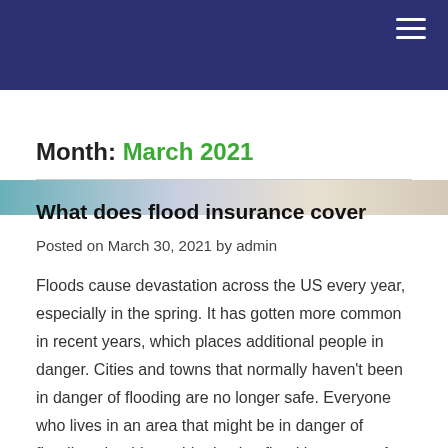Month: March 2021
What does flood insurance cover
Posted on March 30, 2021 by admin
Floods cause devastation across the US every year, especially in the spring. It has gotten more common in recent years, which places additional people in danger. Cities and towns that normally haven't been in danger of flooding are no longer safe. Everyone who lives in an area that might be in danger of flooding should consider having flood insurance. At TAS Insurance Agency in Phillipsburg, NJ, we are locally owned and operated and provide our